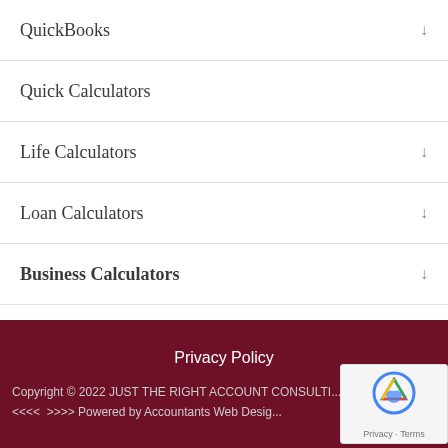QuickBooks
Quick Calculators
Life Calculators
Loan Calculators
Business Calculators
Privacy Policy
Copyright © 2022 JUST THE RIGHT ACCOUNT CONSULTING
<<<< >>>> Powered by Accountants Web Design